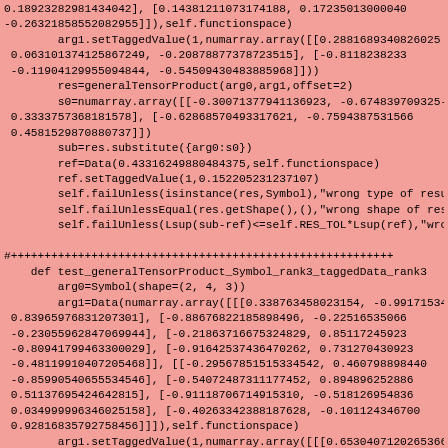0.18923282981434042], [0.14381211073174188, 0.17235013000404 -0.26321858552082955]]),self.functionspace)
        arg1.setTaggedValue(1,numarray.array([[0.28816893408260258, 0.063101374125867249, -0.20878877378723515], [-0.811823823385 -0.11904129955094844, -0.54509430483885968]]))
        res=generalTensorProduct(arg0,arg1,offset=2)
        s0=numarray.array([[-0.30071377941136923, -0.674839709325 0.3333757368181578], [-0.62868570493317621, -0.75943875315660 0.4581529870880737]])
        sub=res.substitute({arg0:s0})
        ref=Data(0.43316249880484375,self.functionspace)
        ref.setTaggedValue(1,0.152205231237107)
        self.failUnless(isinstance(res,Symbol),"wrong type of result.")
        self.failUnlessEqual(res.getShape(),(),"wrong shape of result.")
        self.failUnless(Lsup(sub-ref)<=self.RES_TOL*Lsup(ref),"wrong r

#+++++++++++++++++++++++++++++++++++++++++++++++++++
    def test_generalTensorProduct_Symbol_rank3_taggedData_rank3
        arg0=Symbol(shape=(2, 4, 3))
        arg1=Data(numarray.array([[[0.338763458023154, -0.991715347 0.83965976831207301], [-0.88676822185898496, -0.22516535066 -0.23055962847069944], [-0.21863716675324829, 0.85117245923 -0.80941799463300029], [-0.91642537436470262, 0.73127043092391 -0.48119910407205468]], [[-0.29567851515334542, 0.46079889844 -0.85990540655534546], [-0.54072487311177452, 0.89489625288 0.51137695424642815], [-0.91118706714915310, -0.51812695483 0.034999996346025158], [-0.40263342388187628, -0.10112434670 0.92816835792758456]]]),self.functionspace)
        arg1.setTaggedValue(1,numarray.array([[[0.65304071202653668 -0.26899219838924449, 0.95536095752490335], [0.39235741128 0.13449569449636533, 0.032953351391710011], [0.070367890532